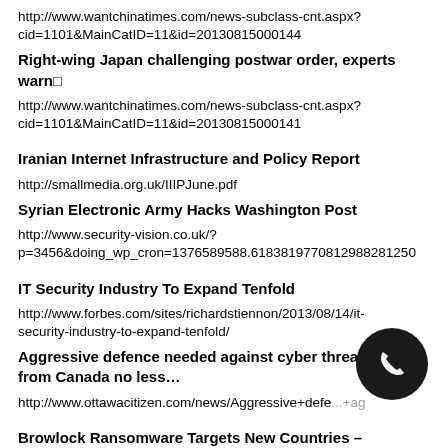http://www.wantchinatimes.com/news-subclass-cnt.aspx?cid=1101&MainCatID=11&id=20130815000144
Right-wing Japan challenging postwar order, experts warn□
http://www.wantchinatimes.com/news-subclass-cnt.aspx?cid=1101&MainCatID=11&id=20130815000141
Iranian Internet Infrastructure and Policy Report
http://smallmedia.org.uk/IIIPJune.pdf
Syrian Electronic Army Hacks Washington Post
http://www.security-vision.co.uk/?p=3456&doing_wp_cron=1376589588.6183819770812988281250
IT Security Industry To Expand Tenfold
http://www.forbes.com/sites/richardstiennon/2013/08/14/it-security-industry-to-expand-tenfold/
Aggressive defence needed against cyber threats… from Canada no less…
http://www.ottawacitizen.com/news/Aggressive+defe...ed+ag
Browlock Ransomware Targets New Countries –